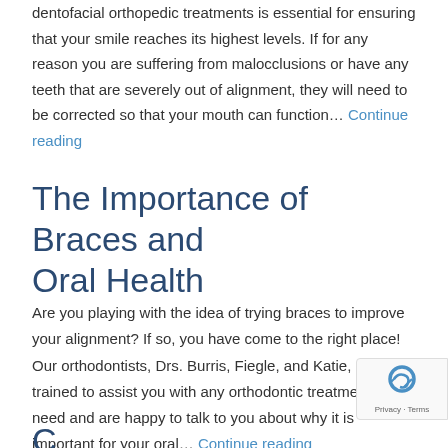dentofacial orthopedic treatments is essential for ensuring that your smile reaches its highest levels. If for any reason you are suffering from malocclusions or have any teeth that are severely out of alignment, they will need to be corrected so that your mouth can function… Continue reading
The Importance of Braces and Oral Health
Are you playing with the idea of trying braces to improve your alignment? If so, you have come to the right place! Our orthodontists, Drs. Burris, Fiegle, and Katie, are trained to assist you with any orthodontic treatment you need and are happy to talk to you about why it is important for your oral… Continue reading
Common Questions About...